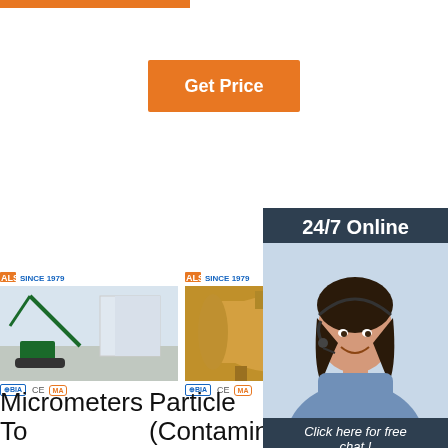[Figure (other): Orange horizontal bar at top left]
[Figure (other): Orange 'Get Price' button]
[Figure (other): Dark blue '24/7 Online' chat panel with customer service woman photo and 'Click here for free chat!' text and QUOTATION button]
[Figure (photo): Construction crane/excavator machine product photo with AMS logo and CE/MA certification badges]
[Figure (photo): Industrial orange boiler/tank equipment product photo with AMS logo and CE/MA certification badges]
[Figure (photo): Third product partially visible with AMS logo]
Micrometers To Millimeters Conversion
Particle (Contaminant) Size Chart In Microns
Sand Size, Microns, Mesh, Inches
Micrometer (American spelling) or micrometre
Hope this helps a little when it comes to